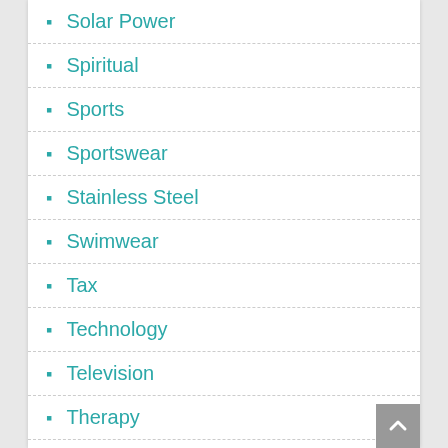Solar Power
Spiritual
Sports
Sportswear
Stainless Steel
Swimwear
Tax
Technology
Television
Therapy
Tips
Tours
Tower
Toys